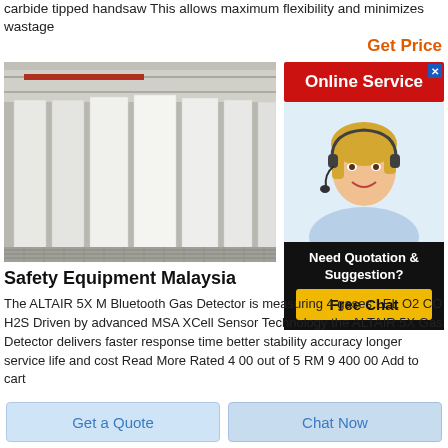carbide tipped handsaw This allows maximum flexibility and minimizes wastage
Get Price
[Figure (photo): Industrial warehouse with large white rectangular panels standing upright on a conveyor/roller system inside a factory building]
[Figure (infographic): Online Service advertisement banner with red background, close button, photo of female customer service agent with headset, 'Need Quotation & Suggestion?' text, and 'Free Chat' yellow button]
Safety Equipment Malaysia
The ALTAIR 5X M Bluetooth Gas Detector is measuring 4 gases LEL O2 CO H2S Driven by advanced MSA XCell Sensor Technology the ALTAIR 5X Gas Detector delivers faster response time better stability accuracy longer service life and cost Read More Rated 4 00 out of 5 RM 9 400 00 Add to cart
Get a Quote
Chat Now